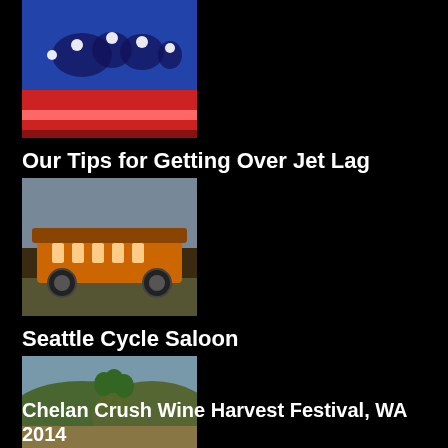[Figure (photo): Thumbnail image showing a world map with Hello Kitty icons on a colorful striped background]
Our Tips for Getting Over Jet Lag
[Figure (photo): Thumbnail image of a multi-person pedal-powered cycle bar vehicle (cycle saloon) on a street]
Seattle Cycle Saloon
[Figure (photo): Thumbnail image of a rural hillside with autumn trees and dry grass landscape]
Chelan Crush Wine Harvest Festival, WA 2014
[Figure (photo): Thumbnail image of a lake or waterway with blue sky and clouds]